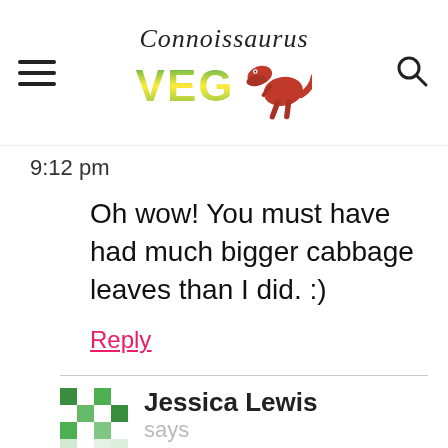Connoissaurus VEG
9:12 pm
Oh wow! You must have had much bigger cabbage leaves than I did. :)
Reply
Jessica Lewis says